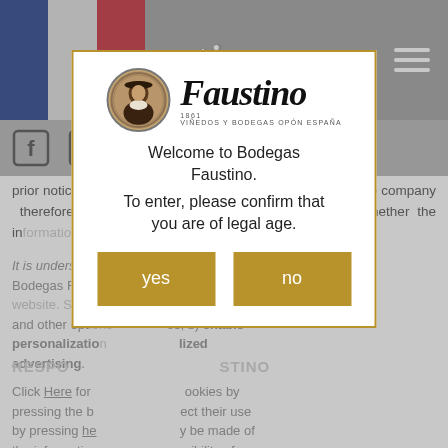Faustino
[Figure (screenshot): Social media icons: Facebook, Twitter, Instagram]
prior notice, the information contained in the Website and the company therefore undertakes no responsibility regarding whether the information is current, accurate or otherwise.
It is understood that the User of the Website that Bodegas Faustino uses cookies on this website. Some cookies are necessary for the functioning of the page, and other options personalise content and offer personalised services, b) enable personalization of content and personalised advertising.
RESPONSIBILITY OF BODEGAS FAUSTINO
Click Here for more information about cookies by pressing the button or reject their use by pressing here. Changes may be made of the information and Faustino takes no responsibility of the person in question.
[Figure (screenshot): Age verification modal dialog for Bodegas Faustino website. Shows the Faustino brand logo (medallion portrait + blackletter Faustino text + tagline VIÑEDOS Y BODEGAS OPÓN ESPAÑA), welcome text 'Welcome to Bodegas Faustino. To enter, please confirm that you are of legal age.' with yes and no buttons in gold/brown color.]
Welcome to Bodegas Faustino.
To enter, please confirm that you are of legal age.